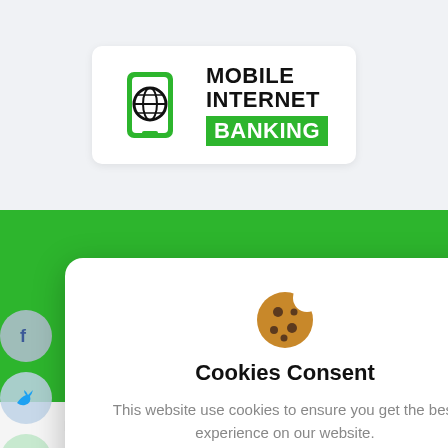[Figure (logo): Mobile Internet Banking logo with globe/phone icon in green, text 'MOBILE INTERNET' in black bold, 'BANKING' in white on green background]
[Figure (screenshot): Cookie consent modal popup with cookie emoji, title 'Cookies Consent', descriptive text, 'I understand' brown button, and 'Privacy Policy' link. Social media share icons (Facebook, Twitter, WhatsApp, close) visible on left. Green navigation bar in background. 'de' label in black box with green border. Arrow navigation button. 'bank's' text and branches count '112886' at bottom.]
Cookies Consent
This website use cookies to ensure you get the best experience on our website.
I understand
Privacy Policy
Branches Worldwide From Over 112886